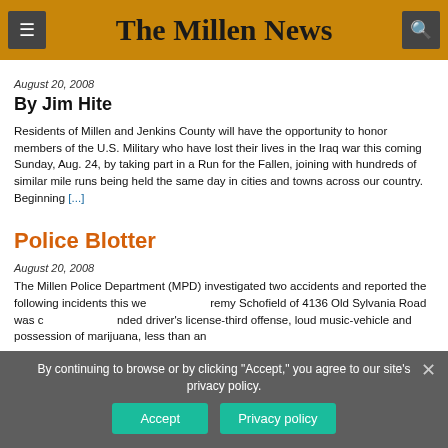The Millen News
August 20, 2008
By Jim Hite
Residents of Millen and Jenkins County will have the opportunity to honor members of the U.S. Military who have lost their lives in the Iraq war this coming Sunday, Aug. 24, by taking part in a Run for the Fallen, joining with hundreds of similar mile runs being held the same day in cities and towns across our country. Beginning [...]
Police Blotter
August 20, 2008
The Millen Police Department (MPD) investigated two accidents and reported the following incidents this week so… Jeremy Schofield of 4136 Old Sylvania Road was charged with driving with a suspended driver's license-third offense, loud music-vehicle and possession of marijuana, less than an